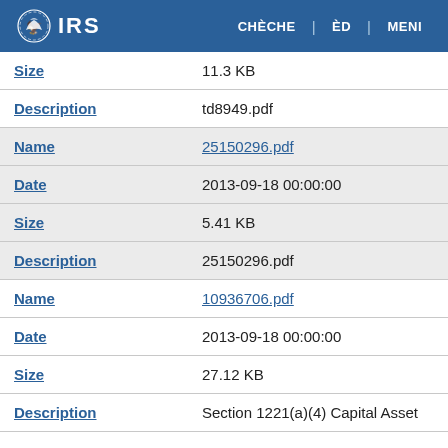IRS | CHÈCHE | ÈD | MENI
| Size | 11.3 KB |
| Description | td8949.pdf |
| Name | 25150296.pdf |
| Date | 2013-09-18 00:00:00 |
| Size | 5.41 KB |
| Description | 25150296.pdf |
| Name | 10936706.pdf |
| Date | 2013-09-18 00:00:00 |
| Size | 27.12 KB |
| Description | Section 1221(a)(4) Capital Asset |